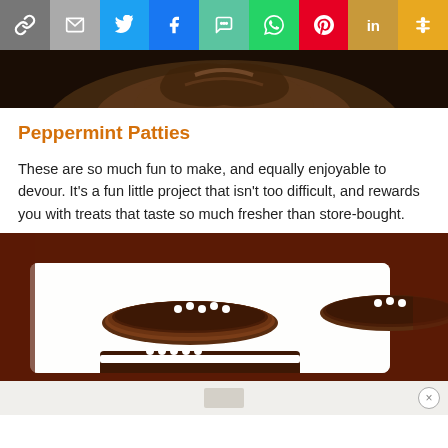[Figure (other): Social media share bar with icons: link, email, Twitter, Facebook, SMS, WhatsApp, Pinterest, LinkedIn, More]
[Figure (photo): Top portion of food image showing dark chocolate cookie or bowl with pretzel pattern, dark background]
Peppermint Patties
These are so much fun to make, and equally enjoyable to devour. It's a fun little project that isn't too difficult, and rewards you with treats that taste so much fresher than store-bought.
[Figure (photo): Chocolate peppermint patties on a white surface, topped with small white pearl candies, one patty cross-section visible showing white mint filling]
[Figure (other): Advertisement bar at bottom with close button (X)]